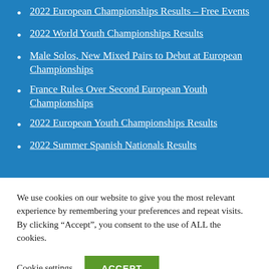2022 European Championships Results – Free Events
2022 World Youth Championships Results
Male Solos, New Mixed Pairs to Debut at European Championships
France Rules Over Second European Youth Championships
2022 European Youth Championships Results
2022 Summer Spanish Nationals Results
We use cookies on our website to give you the most relevant experience by remembering your preferences and repeat visits. By clicking “Accept”, you consent to the use of ALL the cookies.
Cookie settings   ACCEPT